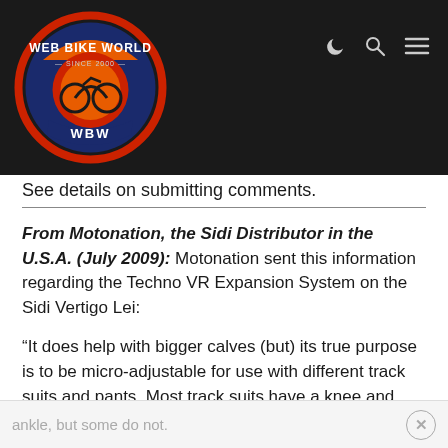[Figure (logo): Web Bike World logo — circular badge with motorcycle imagery, orange/red/blue/white colors, text 'WEB BIKE WORLD', 'SINCE 2000', 'WBW' on dark navy background header with moon, search, and menu icons.]
See details on submitting comments.
From Motonation, the Sidi Distributor in the U.S.A. (July 2009): Motonation sent this information regarding the Techno VR Expansion System on the Sidi Vertigo Lei:
“It does help with bigger calves (but) its true purpose is to be micro-adjustable for use with different track suits and pants. Most track suits have a knee and shin guard that goes all the way down to just about top of your ankle, but some do not.